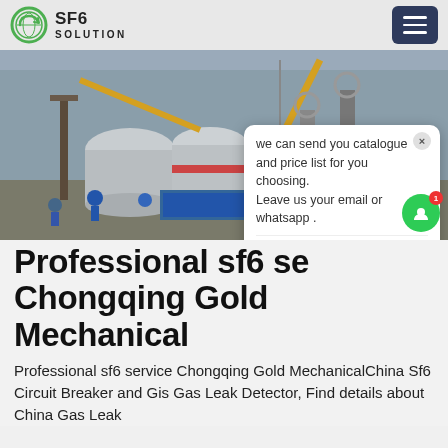SF6 SOLUTION
[Figure (photo): Industrial construction site with large cylindrical SF6 gas equipment being installed by cranes, workers in hard hats visible in foreground]
Professional sf6 service Chongqing Gold Mechanical
Professional sf6 service Chongqing Gold MechanicalChina Sf6 Circuit Breaker and Gis Gas Leak Detector, Find details about China Gas Leak